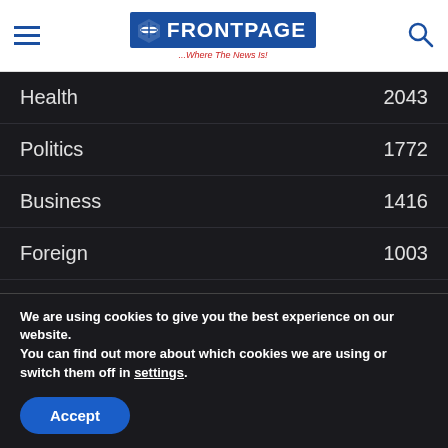FRONTPAGE — ...Where The News Is!
Health  2043
Politics  1772
Business  1416
Foreign  1003
My view  938
Sports  824
Religion  434
Entertainment  390
We are using cookies to give you the best experience on our website.
You can find out more about which cookies we are using or switch them off in settings.
Accept